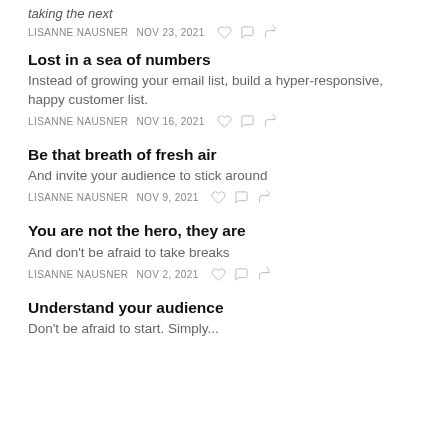taking the next
LISANNE NAUSNER   NOV 23, 2021
Lost in a sea of numbers
Instead of growing your email list, build a hyper-responsive, happy customer list.
LISANNE NAUSNER   NOV 16, 2021
Be that breath of fresh air
And invite your audience to stick around
LISANNE NAUSNER   NOV 9, 2021
You are not the hero, they are
And don't be afraid to take breaks
LISANNE NAUSNER   NOV 2, 2021
Understand your audience
Don't be afraid to start. Simply...